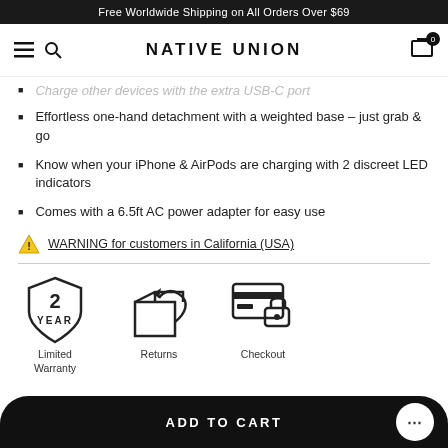Free Worldwide Shipping on All Orders Over $69
NATIVE UNION
Charge other devices with the extra USB-C port
Effortless one-hand detachment with a weighted base – just grab & go
Know when your iPhone & AirPods are charging with 2 discreet LED indicators
Comes with a 6.5ft AC power adapter for easy use
WARNING for customers in California (USA)
[Figure (illustration): Three icons: 2 Year Limited Warranty shield, Returns box with arrow, Checkout credit card with lock]
ADD TO CART
Limited Warranty   Returns   Checkout